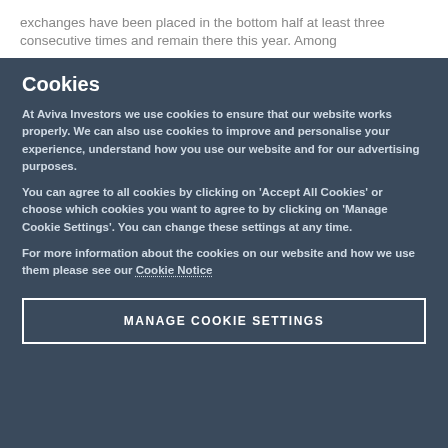exchanges have been placed in the bottom half at least three consecutive times and remain there this year. Among
Cookies
At Aviva Investors we use cookies to ensure that our website works properly. We can also use cookies to improve and personalise your experience, understand how you use our website and for our advertising purposes.
You can agree to all cookies by clicking on ‘Accept All Cookies’ or choose which cookies you want to agree to by clicking on ‘Manage Cookie Settings’. You can change these settings at any time.
For more information about the cookies on our website and how we use them please see our Cookie Notice
MANAGE COOKIE SETTINGS